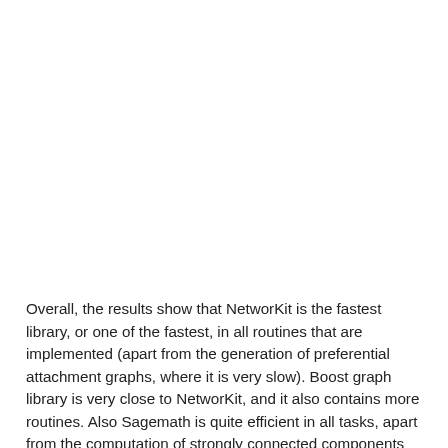Overall, the results show that NetworKit is the fastest library, or one of the fastest, in all routines that are implemented (apart from the generation of preferential attachment graphs, where it is very slow). Boost graph library is very close to NetworKit, and it also contains more routines. Also Sagemath is quite efficient in all tasks, apart from the computation of strongly connected components and the generation of a preferential attachment graph, where it needed more than 2 hours. However, in the latter case, the